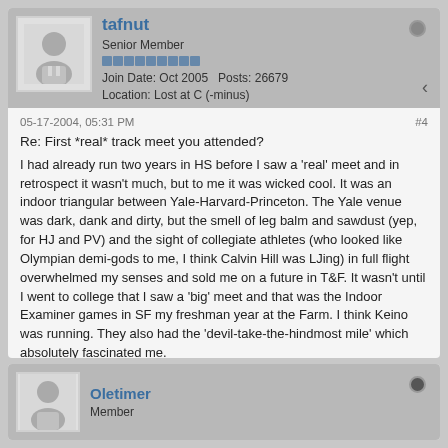[Figure (screenshot): Forum post by user tafnut, Senior Member, showing avatar (silhouette person), join date Oct 2005, Posts 26679, Location Lost at C (-minus). Post dated 05-17-2004 05:31 PM, post #4. Title: Re: First *real* track meet you attended? Body text about indoor triangular Yale-Harvard-Princeton meet.]
tafnut
Senior Member
Join Date: Oct 2005    Posts: 26679
Location: Lost at C (-minus)
05-17-2004, 05:31 PM
#4
Re: First *real* track meet you attended?
I had already run two years in HS before I saw a 'real' meet and in retrospect it wasn't much, but to me it was wicked cool. It was an indoor triangular between Yale-Harvard-Princeton. The Yale venue was dark, dank and dirty, but the smell of leg balm and sawdust (yep, for HJ and PV) and the sight of collegiate athletes (who looked like Olympian demi-gods to me, I think Calvin Hill was LJing) in full flight overwhelmed my senses and sold me on a future in T&F. It wasn't until I went to college that I saw a 'big' meet and that was the Indoor Examiner games in SF my freshman year at the Farm. I think Keino was running. They also had the 'devil-take-the-hindmost mile' which absolutely fascinated me.
Oletimer
Member